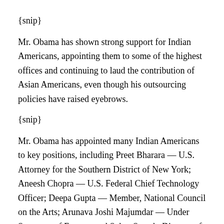{snip}
Mr. Obama has shown strong support for Indian Americans, appointing them to some of the highest offices and continuing to laud the contribution of Asian Americans, even though his outsourcing policies have raised eyebrows.
{snip}
Mr. Obama has appointed many Indian Americans to key positions, including Preet Bharara — U.S. Attorney for the Southern District of New York; Aneesh Chopra — U.S. Federal Chief Technology Officer; Deepa Gupta — Member, National Council on the Arts; Arunava Joshi Majumdar — Under Secretary of Energy; and Subra Suresh, Director of the National Science Foundation.  Earlier this year, the Obama Campaign also appointed actor Kalpen Modi (better known as Kal Penn), California's first female attorney general,